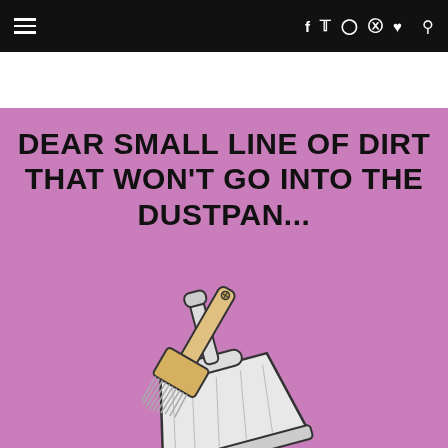≡  f  t  ○  ⊕  ♥  🔍
[Figure (illustration): A humorous meme image with a purple/mauve background showing a hand brush and dustpan illustration. Bold black text reads: DEAR SMALL LINE OF DIRT THAT WON'T GO INTO THE DUSTPAN...]